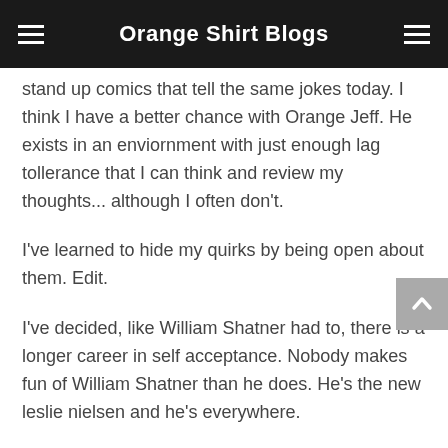Orange Shirt Blogs
stand up comics that tell the same jokes today. I think I have a better chance with Orange Jeff. He exists in an enviornment with just enough lag tollerance that I can think and review my thoughts... although I often don't.
I've learned to hide my quirks by being open about them. Edit.
I've decided, like William Shatner had to, there is a longer career in self acceptance. Nobody makes fun of William Shatner than he does. He's the new leslie nielsen and he's everywhere.
He is not the new leslie nielsen.